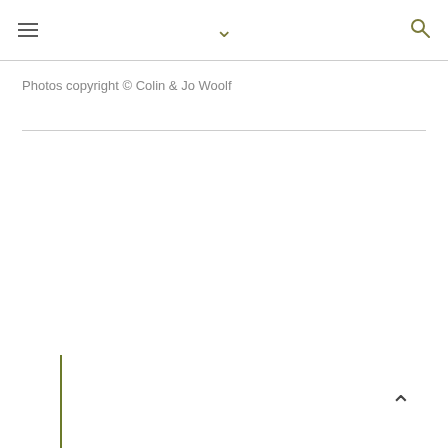≡ ∨ 🔍
Photos copyright © Colin & Jo Woolf
[Figure (other): Vertical olive-green line element on white background, partial view of image below horizontal rule]